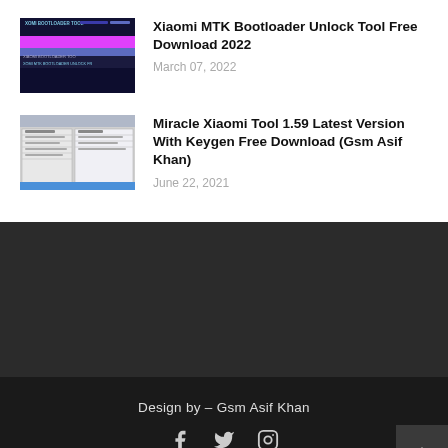[Figure (screenshot): Xiaomi MTK Bootloader Tool screenshot with dark background and colorful bars]
Xiaomi MTK Bootloader Unlock Tool Free Download 2022
March 07, 2022
[Figure (screenshot): Miracle Xiaomi Tool software interface screenshot]
Miracle Xiaomi Tool 1.59 Latest Version With Keygen Free Download (Gsm Asif Khan)
June 22, 2021
Design by – Gsm Asif Khan